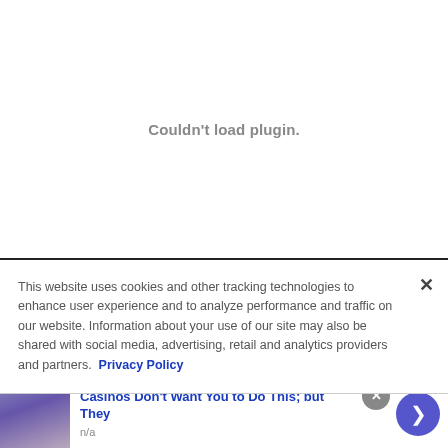Couldn't load plugin.
This website uses cookies and other tracking technologies to enhance user experience and to analyze performance and traffic on our website. Information about your use of our site may also be shared with social media, advertising, retail and analytics providers and partners. Privacy Policy
[Figure (illustration): Thumbnail image of a person for advertisement]
Casinos Don't Want You to Do This; but They
n/a